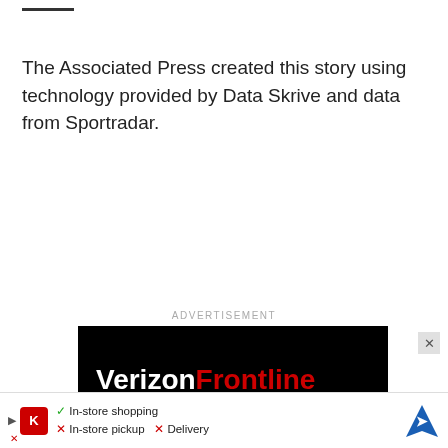The Associated Press created this story using technology provided by Data Skrive and data from Sportradar.
ADVERTISEMENT
[Figure (logo): Verizon Frontline advertisement on black background with VerizonFrontline logo in white and red text, and a smaller verizon logo at the bottom left]
[Figure (infographic): Bottom advertisement bar showing a Kroger store icon with checkmark for In-store shopping, X for In-store pickup, X for Delivery, and a blue map direction pin on the right]